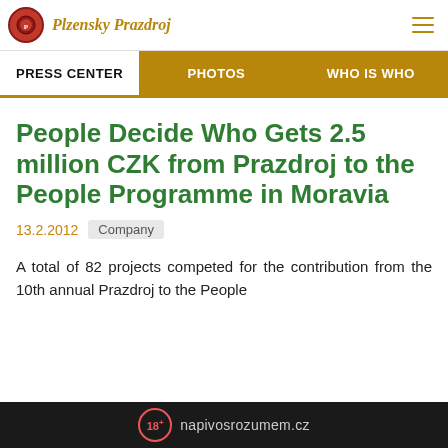Plzensky Prazdroj
PRESS CENTER | PHOTOS | WHO IS WHO
People Decide Who Gets 2.5 million CZK from Prazdroj to the People Programme in Moravia
13.2.2012  Company
A total of 82 projects competed for the contribution from the 10th annual Prazdroj to the People
18+ napivosrozumem.cz